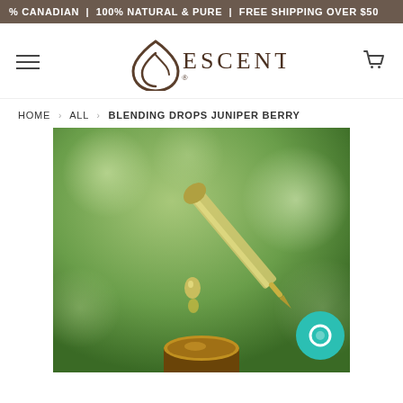% CANADIAN | 100% NATURAL & PURE | FREE SHIPPING OVER $50
[Figure (logo): Escents logo with leaf icon and brand name]
HOME › ALL › BLENDING DROPS JUNIPER BERRY
[Figure (photo): Close-up photo of a glass dropper releasing a drop of golden essential oil into an amber glass bottle, set against a blurred green background]